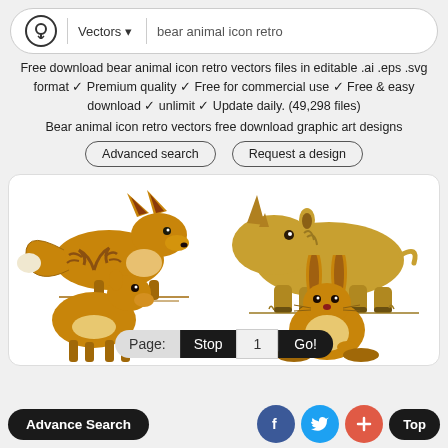Vectors ▾  bear animal icon retro
Free download bear animal icon retro vectors files in editable .ai .eps .svg format ✓ Premium quality ✓ Free for commercial use ✓ Free & easy download ✓ unlimit ✓ Update daily. (49,298 files)
Bear animal icon retro vectors free download graphic art designs
Advanced search    Request a design
[Figure (illustration): Four retro animal illustrations in golden/amber color: a fox (top left), a rhinoceros (top right), a deer with antlers (bottom left), and a rabbit/hare (bottom center-right). All rendered in vintage engraving style.]
Page: Stop 1 Go!
Advance Search
Top